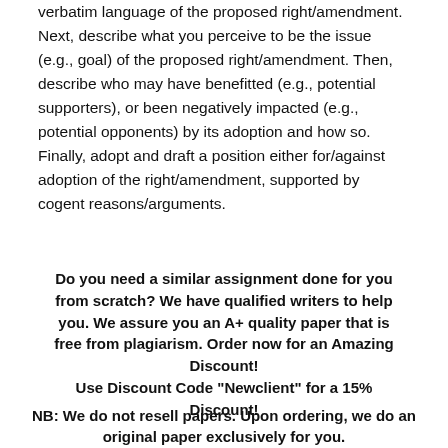verbatim language of the proposed right/amendment. Next, describe what you perceive to be the issue (e.g., goal) of the proposed right/amendment. Then, describe who may have benefitted (e.g., potential supporters), or been negatively impacted (e.g., potential opponents) by its adoption and how so. Finally, adopt and draft a position either for/against adoption of the right/amendment, supported by cogent reasons/arguments.
Do you need a similar assignment done for you from scratch? We have qualified writers to help you. We assure you an A+ quality paper that is free from plagiarism. Order now for an Amazing Discount! Use Discount Code "Newclient" for a 15% Discount!
NB: We do not resell papers. Upon ordering, we do an original paper exclusively for you.